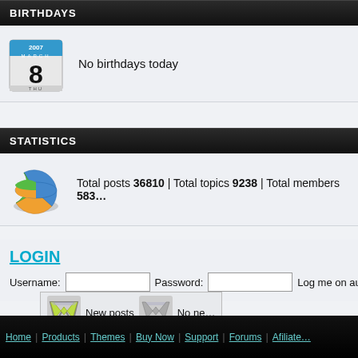BIRTHDAYS
No birthdays today
STATISTICS
Total posts 36810 | Total topics 9238 | Total members 583…
LOGIN
Username: [input] Password: [input] Log me on au…
[Figure (screenshot): Forum icons row: colored W icon labeled 'New posts', grey W icon labeled 'No ne…']
Home | Products | Themes | Buy Now | Support | Forums | Afiliate…